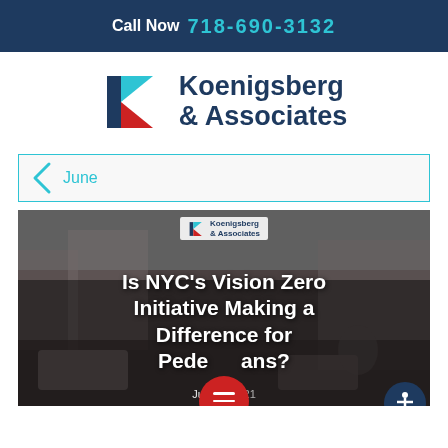Call Now 718-690-3132
[Figure (logo): Koenigsberg & Associates law firm logo with stylized K in red and teal colors]
Koenigsberg & Associates
June
[Figure (photo): NYC street scene with pedestrians and vehicles, overlaid with article title text: Is NYC's Vision Zero Initiative Making a Difference for Pedestrians?]
Is NYC's Vision Zero Initiative Making a Difference for Pedestrians?